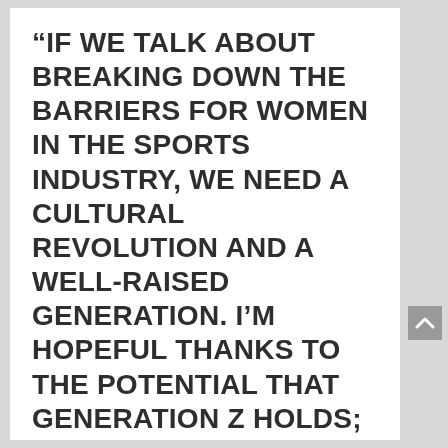“IF WE TALK ABOUT BREAKING DOWN THE BARRIERS FOR WOMEN IN THE SPORTS INDUSTRY, WE NEED A CULTURAL REVOLUTION AND A WELL-RAISED GENERATION. I’M HOPEFUL THANKS TO THE POTENTIAL THAT GENERATION Z HOLDS; THEY’RE HIGHLY CONSCIOUS ABOUT DISCRIMINATION AND READY TO ACT AGAINST IT.” ANADOLU EFES ISTANBUL, ELIF MAGUL, EXTERNAL AFFAIRS SUPERVISOR